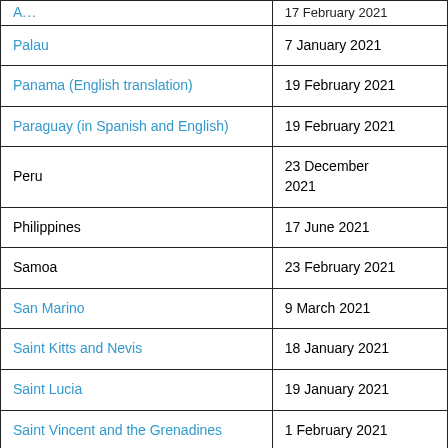| Country | Date |
| --- | --- |
| [partial] [top cut off] | 17 February 2021 [partial] |
| Palau | 7 January 2021 |
| Panama (English translation) | 19 February 2021 |
| Paraguay (in Spanish and English) | 19 February 2021 |
| Peru | 23 December 2021 |
| Philippines | 17 June 2021 |
| Samoa | 23 February 2021 |
| San Marino | 9 March 2021 |
| Saint Kitts and Nevis | 18 January 2021 |
| Saint Lucia | 19 January 2021 |
| Saint Vincent and the Grenadines | 1 February 2021 |
| Seychelles | 3 March 2022 |